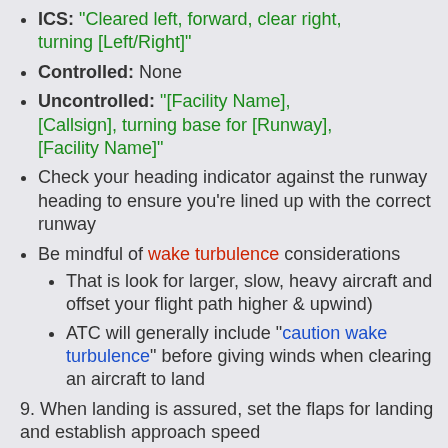ICS: "Cleared left, forward, clear right, turning [Left/Right]"
Controlled: None
Uncontrolled: "[Facility Name], [Callsign], turning base for [Runway], [Facility Name]"
Check your heading indicator against the runway heading to ensure you're lined up with the correct runway
Be mindful of wake turbulence considerations
That is look for larger, slow, heavy aircraft and offset your flight path higher & upwind)
ATC will generally include "caution wake turbulence" before giving winds when clearing an aircraft to land
9. When landing is assured, set the flaps for landing and establish approach speed